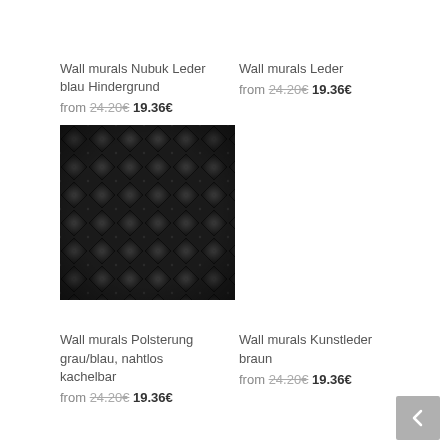Wall murals Nubuk Leder blau Hindergrund
from 24.20€ 19.36€
[Figure (photo): Black quilted leather texture with diamond pattern]
Wall murals Leder
from 24.20€ 19.36€
Wall murals Polsterung grau/blau, nahtlos kachelbar
from 24.20€ 19.36€
Wall murals Kunstleder braun
from 24.20€ 19.36€